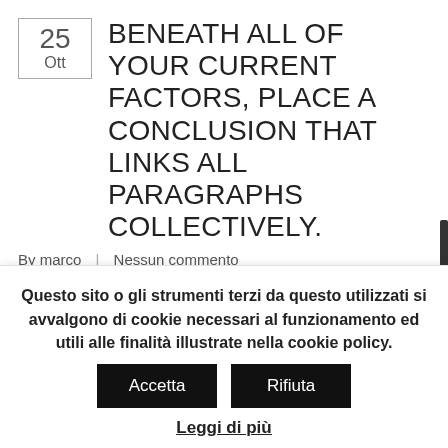BENEATH ALL OF YOUR CURRENT FACTORS, PLACE A CONCLUSION THAT LINKS ALL PARAGRAPHS COLLECTIVELY.
By marco  |  Nessun commento
Beneath all of your current factors, place a conclusion that links all paragraphs collectively. You've got an article describe with an introduction, 3 main statements with details form the causes under all the comments immediately after which the final outcome. Anybody can compose their genuine article centered…
Questo sito o gli strumenti terzi da questo utilizzati si avvalgono di cookie necessari al funzionamento ed utili alle finalità illustrate nella cookie policy. Accetta Rifiuta
Leggi di più